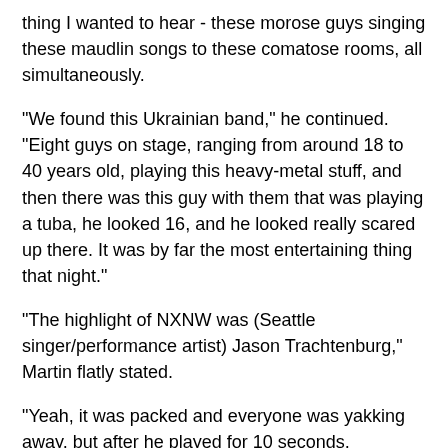thing I wanted to hear - these morose guys singing these maudlin songs to these comatose rooms, all simultaneously.
"We found this Ukrainian band," he continued. "Eight guys on stage, ranging from around 18 to 40 years old, playing this heavy-metal stuff, and then there was this guy with them that was playing a tuba, he looked 16, and he looked really scared up there. It was by far the most entertaining thing that night."
"The highlight of NXNW was (Seattle singer/performance artist) Jason Trachtenburg," Martin flatly stated.
"Yeah, it was packed and everyone was yakking away, but after he played for 10 seconds, everyone was just glued to the stage, and it just got better and better with each song," Einmo said, shaking his head.
With a noticeable buzz circling the band's every gig, SushiRobo is eager to get back in the studio to record more Roberts originals for a follow-up; they're also in the idea stage of a tour, where a tandem trip with Spyglass would be